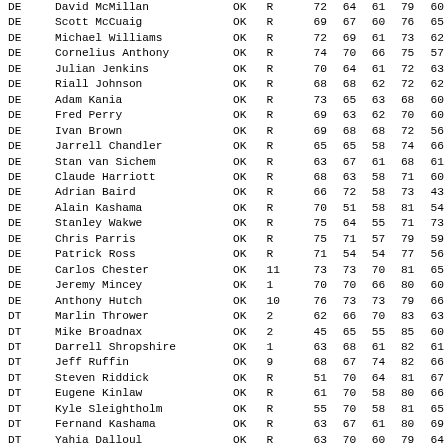| POS | NAME | ST | R | N1 | N2 | N3 | N4 | N5 |
| --- | --- | --- | --- | --- | --- | --- | --- | --- |
| DE | David McMillan | OK | R | 72 | 64 | 61 | 79 | 60 |
| DE | Scott McCuaig | OK | R | 69 | 67 | 60 | 76 | 65 |
| DE | Michael Williams | OK | R | 72 | 69 | 61 | 73 | 62 |
| DE | Cornelius Anthony | OK | R | 74 | 70 | 66 | 75 | 57 |
| DE | Julian Jenkins | OK | R | 70 | 64 | 61 | 72 | 63 |
| DE | Riall Johnson | OK | R | 68 | 68 | 62 | 72 | 62 |
| DE | Adam Kania | OK | R | 73 | 65 | 63 | 68 | 60 |
| DE | Fred Perry | OK | R | 69 | 63 | 62 | 70 | 60 |
| DE | Ivan Brown | OK | R | 69 | 68 | 68 | 72 | 56 |
| DE | Jarrell Chandler | OK | R | 65 | 65 | 58 | 74 | 66 |
| DE | Stan van Sichem | OK | R | 63 | 67 | 61 | 68 | 61 |
| DE | Claude Harriott | OK | R | 68 | 63 | 58 | 71 | 60 |
| DE | Adrian Baird | OK | R | 66 | 72 | 58 | 73 | 43 |
| DE | Alain Kashama | OK | R | 70 | 51 | 58 | 81 | 54 |
| DE | Stanley Wakwe | OK | R | 75 | 64 | 55 | 71 | 73 |
| DE | Chris Parris | OK | R | 75 | 71 | 57 | 79 | 59 |
| DE | Patrick Ross | OK | R | 71 | 54 | 54 | 77 | 56 |
| DE | Carlos Chester | OK | 11 | 73 | 73 | 70 | 81 | 65 |
| DE | Jeremy Mincey | OK | 1 | 70 | 70 | 66 | 80 | 60 |
| DE | Anthony Hutch | OK | 10 | 76 | 73 | 73 | 79 | 66 |
| DT | Marlin Thrower | OK | 2 | 62 | 66 | 70 | 83 | 63 |
| DT | Mike Broadnax | OK | 2 | 45 | 65 | 55 | 85 | 60 |
| DT | Darrell Shropshire | OK | 1 | 63 | 68 | 61 | 82 | 61 |
| DT | Jeff Ruffin | OK | 9 | 68 | 67 | 74 | 82 | 66 |
| DT | Steven Riddick | OK | R | 51 | 70 | 64 | 81 | 67 |
| DT | Eugene Kinlaw | OK | R | 61 | 70 | 58 | 80 | 66 |
| DT | Kyle Sleightholm | OK | R | 55 | 70 | 58 | 81 | 65 |
| DT | Fernand Kashama | OK | R | 63 | 67 | 61 | 80 | 69 |
| DT | Yahia Dalloul | OK | R | 63 | 70 | 60 | 79 | 64 |
| DT | Ryan Lucas | OK | R | 63 | 67 | 67 | 77 | 64 |